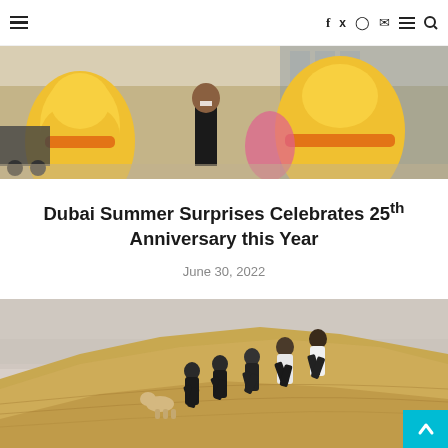Navigation bar with hamburger menu, social icons (f, twitter, instagram, mail, menu, search)
[Figure (photo): Children near large colorful inflatable mascot characters (yellow and orange) at a mall or event venue]
Dubai Summer Surprises Celebrates 25th Anniversary this Year
June 30, 2022
[Figure (photo): Group of people running up a sand dune in Dubai desert]